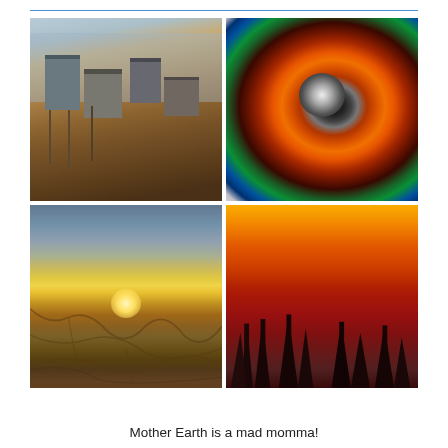[Figure (photo): Four photos showing natural disasters: top-left shows flooded buildings with water surrounding wooden structures; top-right shows a satellite radar image of a hurricane with a distinct eye and colorful swirling bands; bottom-left shows a cracked drought-stricken earth under a dramatic sunset sky; bottom-right shows a wildfire with trees silhouetted against intense orange flames and smoke.]
Mother Earth is a mad momma!